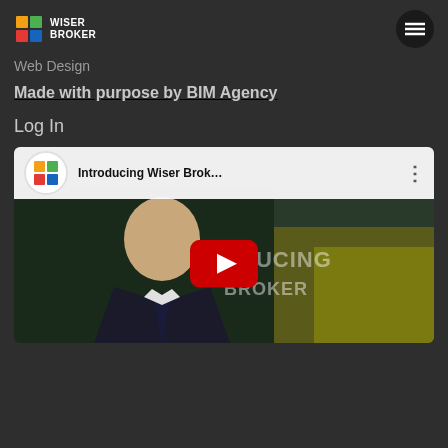[Figure (logo): Wiser Broker logo with colorful icon and white text WISER BROKER]
Web Design
Made with purpose by BIM Agency
Log In
[Figure (screenshot): YouTube video embed showing 'Introducing Wiser Brok...' with a man in a suit and YouTube play button overlay, with text INTRODUCING WISER BROKER in background]